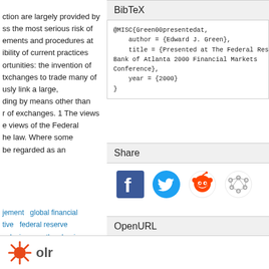ction are largely provided by ss the most serious risk of ements and procedures at ibility of current practices ortunities: the invention of txchanges to trade many of usly link a large, ding by means other than r of exchanges. 1 The views e views of the Federal he law. Where some be regarded as an
BibTeX
@MISC{Green00presentedat,
    author = {Edward J. Green},
    title = {Presented at The Federal Reserve Bank of Atlanta 2000 Financial Markets Conference},
    year = {2000}
}
Share
[Figure (other): Social share icons: Facebook, Twitter, Reddit, and a network/share icon]
jement   global financial tive   federal reserve xplosive growth   clearing nication technology   risk-
OpenURL
[Figure (logo): Solr logo with stylized sun/rays icon and text 'Solr']